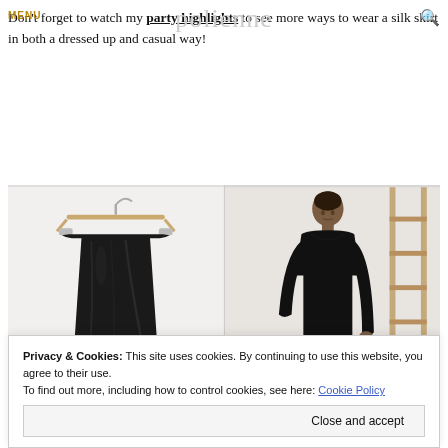MENU | polienne | [search icon]
Don't forget to watch my party highlights to see more ways to wear a silk skirt in both a dressed up and casual way!
[Figure (photo): Two-panel product photo: left panel shows a black satin/silk skirt on a hanger against a white wall; right panel shows a woman wearing the same black silk skirt with a black long-sleeve top, standing against a light background with a wooden ladder.]
Privacy & Cookies: This site uses cookies. By continuing to use this website, you agree to their use.
To find out more, including how to control cookies, see here: Cookie Policy
Close and accept